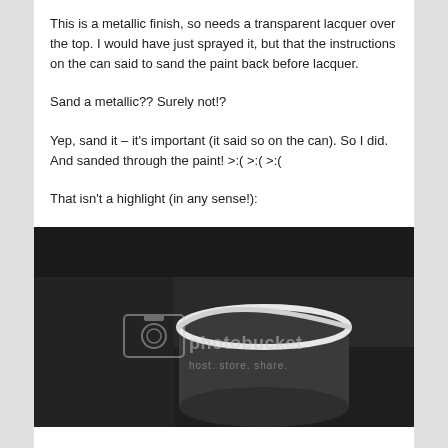This is a metallic finish, so needs a transparent lacquer over the top. I would have just sprayed it, but that the instructions on the can said to sand the paint back before lacquer.
Sand a metallic?? Surely not!?
Yep, sand it – it's important (it said so on the can). So I did. And sanded through the paint! >:( >:( >:(
That isn't a highlight (in any sense!):
[Figure (photo): Close-up photograph of a dark matte cylindrical object (appears to be a painted canister or similar) against a dark background, with a white Photobucket watermark overlay reading 'photobucket host. store. share.']